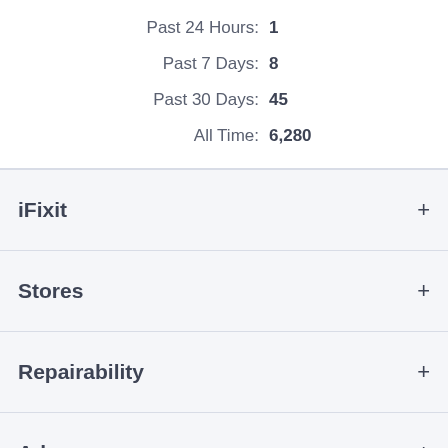Past 24 Hours: 1
Past 7 Days: 8
Past 30 Days: 45
All Time: 6,280
iFixit +
Stores +
Repairability +
Advocacy +